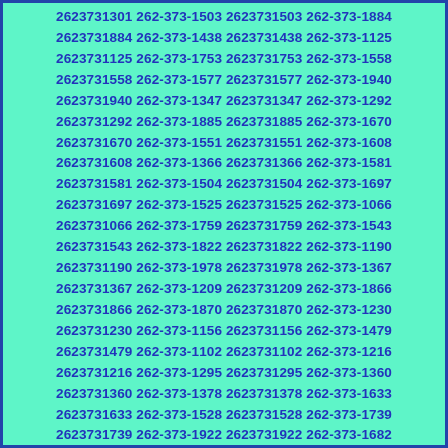2623731301 262-373-1503 2623731503 262-373-1884 2623731884 262-373-1438 2623731438 262-373-1125 2623731125 262-373-1753 2623731753 262-373-1558 2623731558 262-373-1577 2623731577 262-373-1940 2623731940 262-373-1347 2623731347 262-373-1292 2623731292 262-373-1885 2623731885 262-373-1670 2623731670 262-373-1551 2623731551 262-373-1608 2623731608 262-373-1366 2623731366 262-373-1581 2623731581 262-373-1504 2623731504 262-373-1697 2623731697 262-373-1525 2623731525 262-373-1066 2623731066 262-373-1759 2623731759 262-373-1543 2623731543 262-373-1822 2623731822 262-373-1190 2623731190 262-373-1978 2623731978 262-373-1367 2623731367 262-373-1209 2623731209 262-373-1866 2623731866 262-373-1870 2623731870 262-373-1230 2623731230 262-373-1156 2623731156 262-373-1479 2623731479 262-373-1102 2623731102 262-373-1216 2623731216 262-373-1295 2623731295 262-373-1360 2623731360 262-373-1378 2623731378 262-373-1633 2623731633 262-373-1528 2623731528 262-373-1739 2623731739 262-373-1922 2623731922 262-373-1682 2623731682 262-373-1803 2623731803 262-373-1243 2623731243 262-373-1255 2623731255 262-373-1598 2623731598 262-373-1808 2623731808 262-373-1007 2623731007 262-373-1058 2623731058 262-373-1056 2623731056 262-373-1590 2623731590 262-373-1650 2623731650 262-373-1686 2623731686 262-373-1694